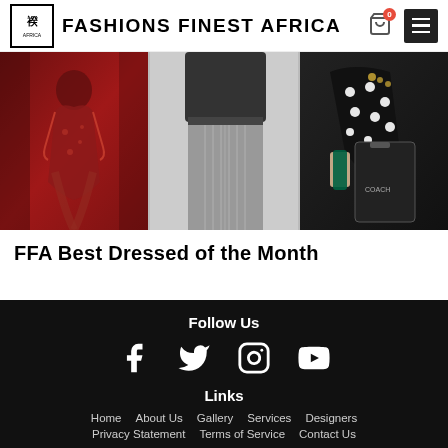Fashions Finest Africa
[Figure (photo): Three-panel fashion image strip: left panel shows woman in red lace dress, center panel shows man in grey pinstripe trousers, right panel shows person in black polka-dot outfit holding a Coach bag]
FFA Best Dressed of the Month
Follow Us · Home · About Us · Gallery · Services · Designers · Privacy Statement · Terms of Service · Contact Us